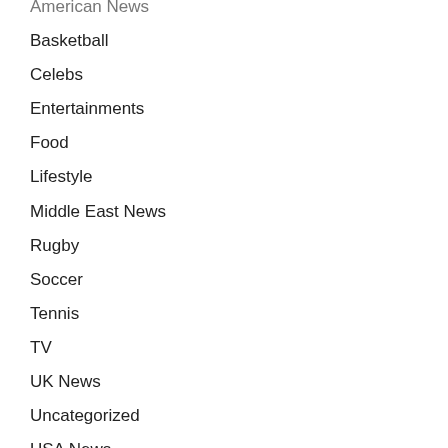American News
Basketball
Celebs
Entertainments
Food
Lifestyle
Middle East News
Rugby
Soccer
Tennis
TV
UK News
Uncategorized
USA News
World News